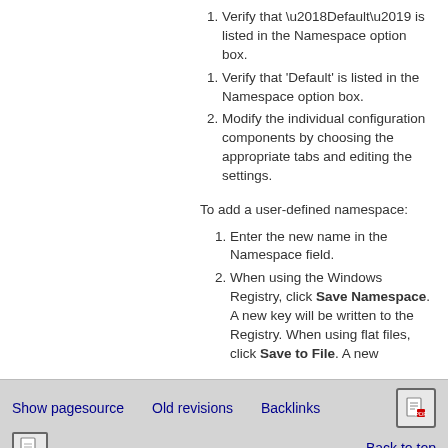Verify that ‘Default’ is listed in the Namespace option box.
Modify the individual configuration components by choosing the appropriate tabs and editing the settings.
To add a user-defined namespace:
Enter the new name in the Namespace field.
When using the Windows Registry, click Save Namespace. A new key will be written to the Registry. When using flat files, click Save to File. A new
Show pagesource   Old revisions   Backlinks   Back to top